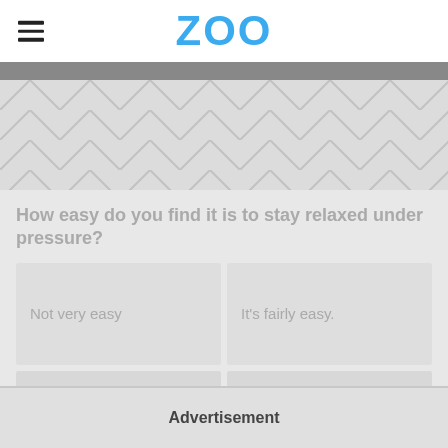ZOO
How easy do you find it is to stay relaxed under pressure?
Not very easy
It's fairly easy.
It's the easiest thing one can do.
It's impossible to relax, ever.
Advertisement